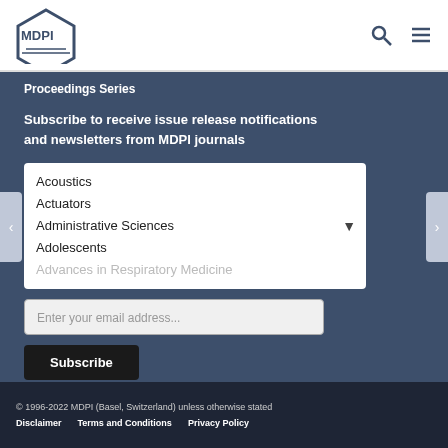MDPI — Proceedings Series
Proceedings Series
Subscribe to receive issue release notifications and newsletters from MDPI journals
Acoustics
Actuators
Administrative Sciences
Adolescents
Advances in Respiratory Medicine
Enter your email address...
Subscribe
© 1996-2022 MDPI (Basel, Switzerland) unless otherwise stated
Disclaimer   Terms and Conditions   Privacy Policy